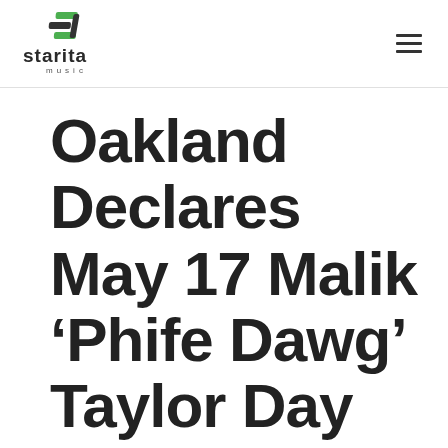starita music [logo] [hamburger menu]
Oakland Declares May 17 Malik ‘Phife Dawg’ Taylor Day
by admin | May 22, 2019 | UCP Press | 0 comments